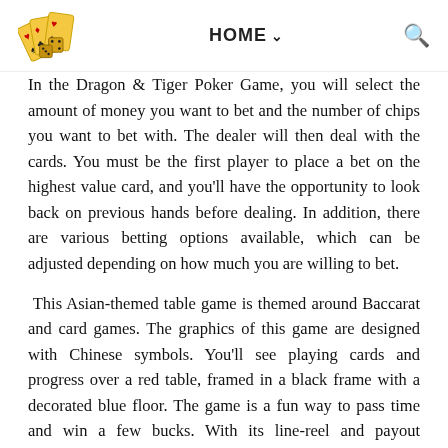HOME
In the Dragon & Tiger Poker Game, you will select the amount of money you want to bet and the number of chips you want to bet with. The dealer will then deal with the cards. You must be the first player to place a bet on the highest value card, and you'll have the opportunity to look back on previous hands before dealing. In addition, there are various betting options available, which can be adjusted depending on how much you are willing to bet.
This Asian-themed table game is themed around Baccarat and card games. The graphics of this game are designed with Chinese symbols. You'll see playing cards and progress over a red table, framed in a black frame with a decorated blue floor. The game is a fun way to pass time and win a few bucks. With its line-reel and payout structure, Dragon & Tiger is a great choice for any gamer.
The game Dragon vs. Tiger is easy to play. Each player must choose a side to bet on and place a stake on a certain bet. In a tie, the winner is the one who received the higher card. Like all cas